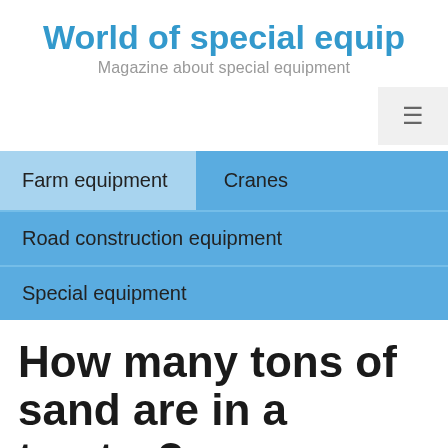World of special equip
Magazine about special equipment
Farm equipment
Cranes
Road construction equipment
Special equipment
How many tons of sand are in a tractor?